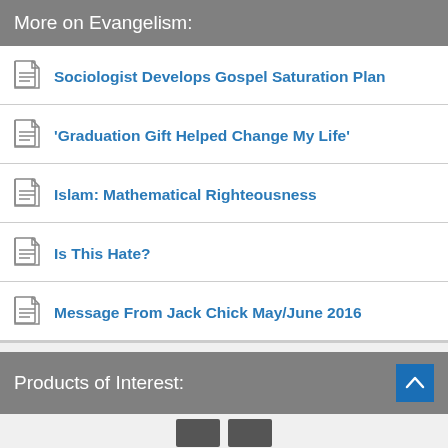More on Evangelism:
Sociologist Develops Gospel Saturation Plan
'Graduation Gift Helped Change My Life'
Islam: Mathematical Righteousness
Is This Hate?
Message From Jack Chick May/June 2016
Products of Interest: